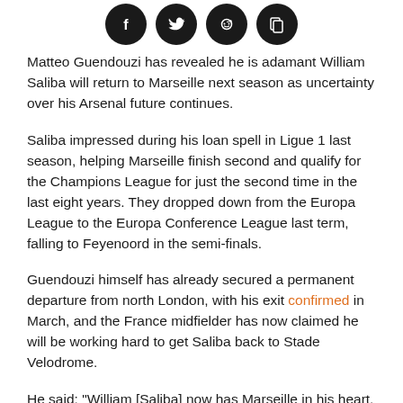[Figure (other): Four social sharing icon buttons (Facebook, Twitter, Reddit, Share/copy) displayed as dark circular icons in a row]
Matteo Guendouzi has revealed he is adamant William Saliba will return to Marseille next season as uncertainty over his Arsenal future continues.
Saliba impressed during his loan spell in Ligue 1 last season, helping Marseille finish second and qualify for the Champions League for just the second time in the last eight years. They dropped down from the Europa League to the Europa Conference League last term, falling to Feyenoord in the semi-finals.
Guendouzi himself has already secured a permanent departure from north London, with his exit confirmed in March, and the France midfielder has now claimed he will be working hard to get Saliba back to Stade Velodrome.
He said: "William [Saliba] now has Marseille in his heart. I'm sure that he'll come back to Marseille next season. I'm going to keep pushing so that he stays with us."